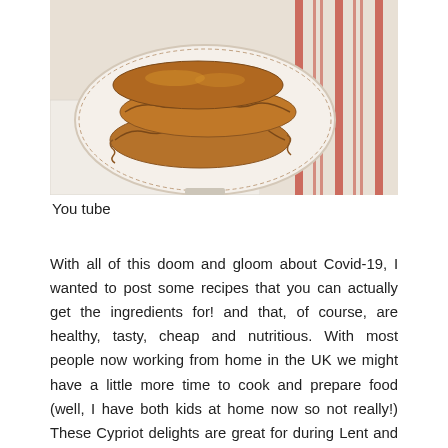[Figure (photo): A plate of fried Cypriot pastries (likely flaounes or bourekia) stacked on a decorative plate, placed on a white lace cloth next to a red-striped fabric.]
You tube
With all of this doom and gloom about Covid-19, I wanted to post some recipes that you can actually get the ingredients for! and that, of course, are healthy, tasty, cheap and nutritious. With most people now working from home in the UK we might have a little more time to cook and prepare food (well, I have both kids at home now so not really!) These Cypriot delights are great for during Lent and have definitely grown on me over the